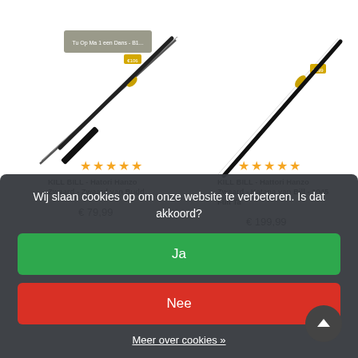[Figure (screenshot): Website product listing showing two Kill Bill Hattori Hanzo swords with images, star ratings, product titles, and prices. Left product: KILL BILL - Hatori Hanzo Zwaard - Zwaard van Budd, €79,99, NIET BESCHIKBAAR. Right product: KILL BILL - Hattori Hanzo Zwaard - Katana van Bill - 1045 Full Ta, €199,99, TOEVOEGEN AAN WINKEL.]
[Figure (screenshot): Cookie consent overlay dialog on a dark background reading 'Wij slaan cookies op om onze website te verbeteren. Is dat akkoord?' with a green 'Ja' button, a red 'Nee' button, and a 'Meer over cookies »' link.]